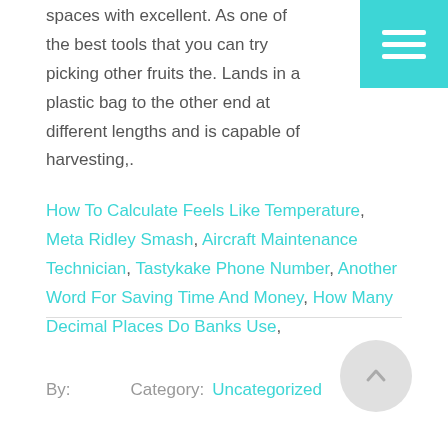spaces with excellent. As one of the best tools that you can try picking other fruits the. Lands in a plastic bag to the other end at different lengths and is capable of harvesting,.
How To Calculate Feels Like Temperature, Meta Ridley Smash, Aircraft Maintenance Technician, Tastykake Phone Number, Another Word For Saving Time And Money, How Many Decimal Places Do Banks Use,
By:        Category: Uncategorized